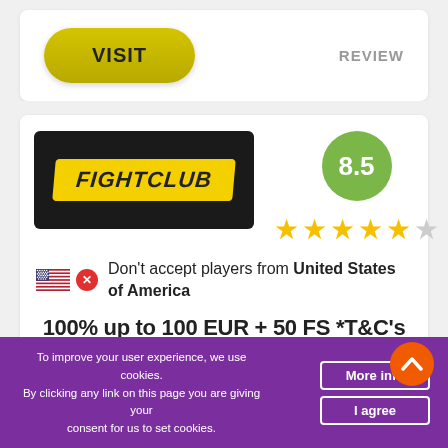[Figure (screenshot): VISIT button (yellow/gold rounded rectangle) and REVIEW text on a white card]
[Figure (logo): FightClub casino logo: yellow text on black background]
[Figure (infographic): Score circle showing 8.5 in green, and 4.5 star rating below it]
Don't accept players from United States of America
100% up to 100 EUR + 50 FS *T&C's
To improve your user experience, we use cookies. By clicking any link on this page you are giving your consent for us to set cookies.